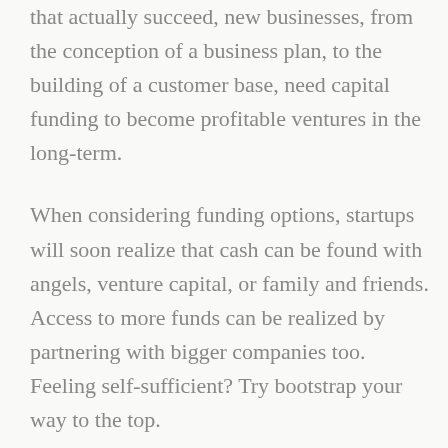that actually succeed, new businesses, from the conception of a business plan, to the building of a customer base, need capital funding to become profitable ventures in the long-term.
When considering funding options, startups will soon realize that cash can be found with angels, venture capital, or family and friends. Access to more funds can be realized by partnering with bigger companies too. Feeling self-sufficient? Try bootstrap your way to the top.